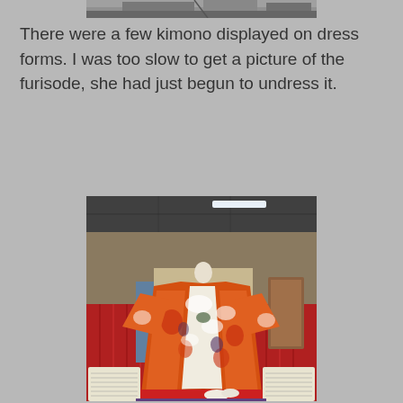[Figure (photo): Top portion of a photo showing a ceiling or exhibit space, partially cropped at the top of the page.]
There were a few kimono displayed on dress forms. I was too slow to get a picture of the furisode, she had just begun to undress it.
[Figure (photo): A colorful furisode kimono displayed on a dress form/mannequin in what appears to be a convention or exhibition hall. The kimono has an orange, white, and floral pattern. A red curtain is visible in the background, and blue wave patterns are painted on the wall behind. Small white shoes/geta are visible at the base. Informational placards are visible on either side.]